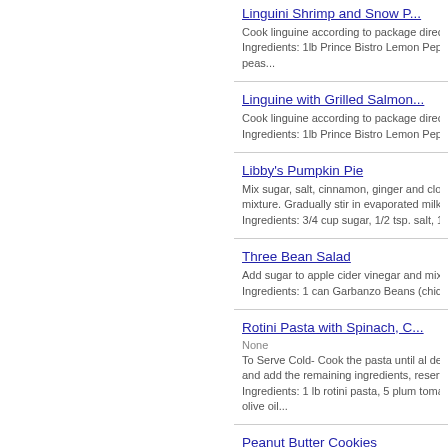Linguini Shrimp and Snow P...
Cook linguine according to package directo... Ingredients: 1lb Prince Bistro Lemon Pepper Li... peas...
Linguine with Grilled Salmon
Cook linguine according to package directi... Ingredients: 1lb Prince Bistro Lemon Pepper Li...
Libby's Pumpkin Pie
Mix sugar, salt, cinnamon, ginger and clove... mixture. Gradually stir in evaporated milk... Ingredients: 3/4 cup sugar, 1/2 tsp. salt, 1 tsp gr...
Three Bean Salad
Add sugar to apple cider vinegar and mix... Ingredients: 1 can Garbanzo Beans (chickpeas)...
Rotini Pasta with Spinach, C...
None
To Serve Cold- Cook the pasta until al dent... and add the remaining ingredients, reservin... Ingredients: 1 lb rotini pasta, 5 plum tomatoes, ... olive oil...
Peanut Butter Cookies
Preheat over to 350 F.... Ingredients: 1/2 cup butter, 1/2 cup granulated s...
Chocolate Chunk Browownies
Cut 1/2 package of the chocolate into sm...